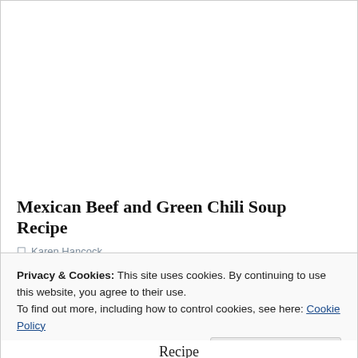[Figure (photo): White/blank image area at top of recipe page]
Mexican Beef and Green Chili Soup Recipe
Karen Hancock
Privacy & Cookies: This site uses cookies. By continuing to use this website, you agree to their use.
To find out more, including how to control cookies, see here: Cookie Policy
Close and accept
Recipe